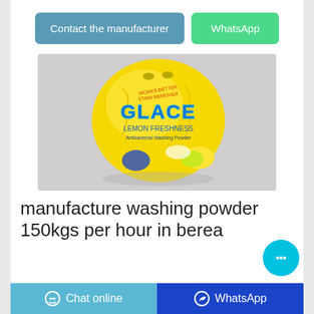[Figure (other): Two buttons: 'Contact the manufacturer' (steel blue) and 'WhatsApp' (green)]
[Figure (photo): Photo of a yellow bag of GLACE Lemon Freshness antibacterial washing powder on a grey background]
manufacture washing powder 150kgs per hour in berea
[Figure (other): Bottom bar with 'Chat online' button (light blue) and 'WhatsApp' button (dark blue), plus a floating chat bubble button (cyan)]